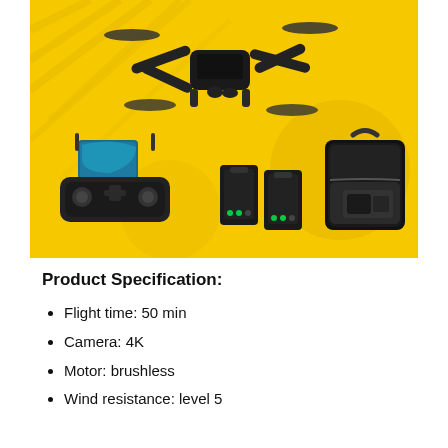[Figure (photo): Product photo of a black foldable drone (quadcopter) with camera, shown with remote controller with smartphone attached, two batteries, and a carry case. Yellow background with diagonal pattern.]
Product Specification:
Flight time: 50 min
Camera: 4K
Motor: brushless
Wind resistance: level 5